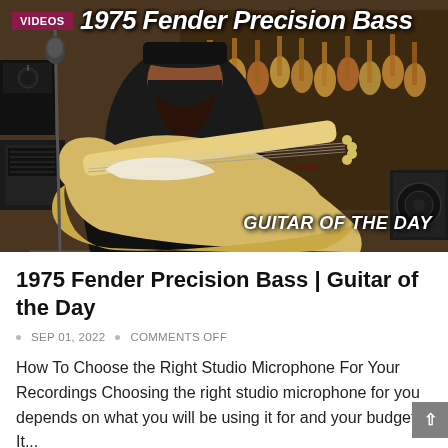[Figure (photo): Video thumbnail showing a bearded man in a black t-shirt playing a vintage blonde/natural Fender Precision Bass guitar in a music store with many guitars hanging on the wall behind him. Text overlay reads '1975 Fender Precision Bass' at the top and 'GUITAR OF THE DAY' at the bottom right. A 'VIDEOS' badge appears top left.]
1975 Fender Precision Bass | Guitar of the Day
SEP 01, 2022 • COMMENTS OFF
How To Choose the Right Studio Microphone For Your Recordings Choosing the right studio microphone for you depends on what you will be using it for and your budget. It...